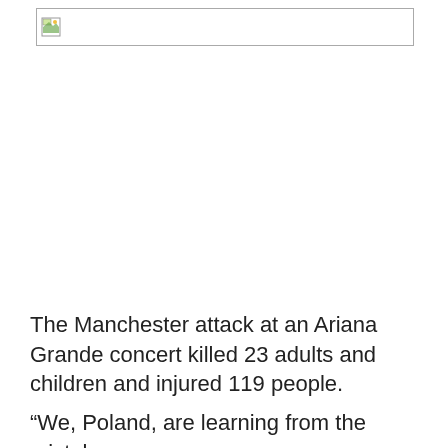[Figure (photo): Broken/missing image placeholder with small image icon in top-left corner]
The Manchester attack at an Ariana Grande concert killed 23 adults and children and injured 119 people.
“We, Poland, are learning from the mistakes